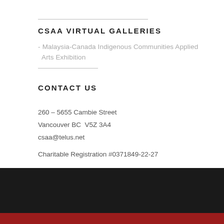CSAA VIRTUAL GALLERIES
Malaysia-Canada Indigenous Communities Applied Arts Exhibition
CONTACT US
260 – 5655 Cambie Street
Vancouver BC  V5Z 3A4
csaa@telus.net
Charitable Registration #0371849-22-27